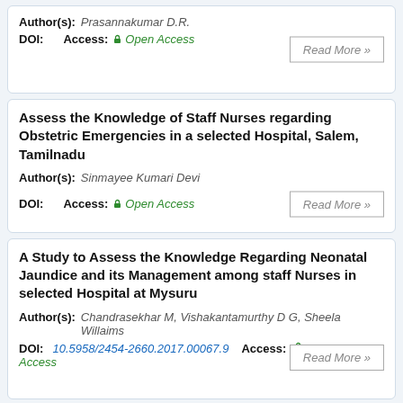Author(s): Prasannakumar D.R.
DOI: Access: Open Access
Read More »
Assess the Knowledge of Staff Nurses regarding Obstetric Emergencies in a selected Hospital, Salem, Tamilnadu
Author(s): Sinmayee Kumari Devi
DOI: Access: Open Access
Read More »
A Study to Assess the Knowledge Regarding Neonatal Jaundice and its Management among staff Nurses in selected Hospital at Mysuru
Author(s): Chandrasekhar M, Vishakantamurthy D G, Sheela Willaims
DOI: 10.5958/2454-2660.2017.00067.9 Access: Open Access
Read More »